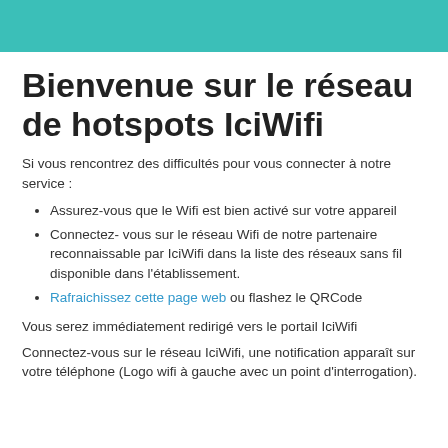[Figure (other): Teal/turquoise decorative header bar]
Bienvenue sur le réseau de hotspots IciWifi
Si vous rencontrez des difficultés pour vous connecter à notre service :
Assurez-vous que le Wifi est bien activé sur votre appareil
Connectez- vous sur le réseau Wifi de notre partenaire reconnaissable par IciWifi dans la liste des réseaux sans fil disponible dans l'établissement.
Rafraichissez cette page web ou flashez le QRCode
Vous serez immédiatement redirigé vers le portail IciWifi
Connectez-vous sur le réseau IciWifi, une notification apparaît sur votre téléphone (Logo wifi à gauche avec un point d'interrogation).